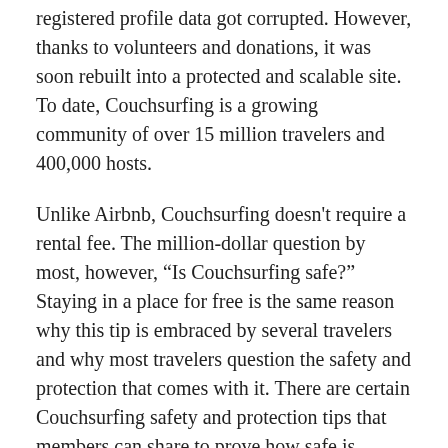registered profile data got corrupted. However, thanks to volunteers and donations, it was soon rebuilt into a protected and scalable site. To date, Couchsurfing is a growing community of over 15 million travelers and 400,000 hosts.
Unlike Airbnb, Couchsurfing doesn't require a rental fee. The million-dollar question by most, however, “Is Couchsurfing safe?” Staying in a place for free is the same reason why this tip is embraced by several travelers and why most travelers question the safety and protection that comes with it. There are certain Couchsurfing safety and protection tips that members can share to prove how safe is Couchsurfing.